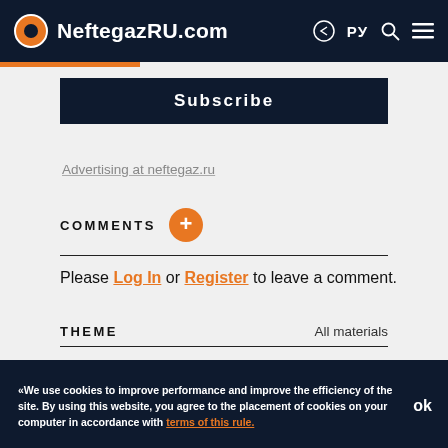NeftegazRU.com
Subscribe
Advertising at neftegaz.ru
COMMENTS
Please Log In or Register to leave a comment.
THEME
All materials
«We use cookies to improve performance and improve the efficiency of the site. By using this website, you agree to the placement of cookies on your computer in accordance with terms of this rule.  ok